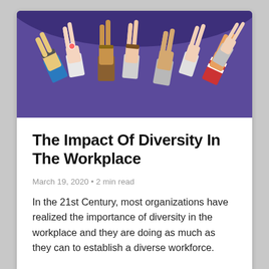[Figure (illustration): Illustration of diverse hands raised up against a purple background, representing workplace diversity. Multiple hands of different skin tones and with various accessories such as watches and bracelets are shown.]
The Impact Of Diversity In The Workplace
March 19, 2020 • 2 min read
In the 21st Century, most organizations have realized the importance of diversity in the workplace and they are doing as much as they can to establish a diverse workforce.